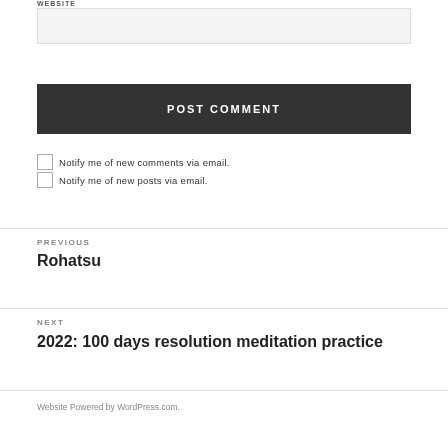WEBSITE
POST COMMENT
Notify me of new comments via email.
Notify me of new posts via email.
PREVIOUS
Rohatsu
NEXT
2022: 100 days resolution meditation practice
Website Powered by WordPress.com.